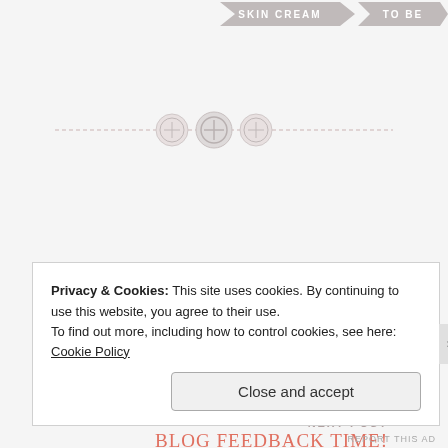[Figure (illustration): Top decorative banner with gray ribbon shapes reading SKIN CREAM and TO BE, partially cropped at top of page]
[Figure (illustration): Decorative horizontal dashed divider with three button icons in the center]
PREVIOUS POST
Shiro Cosmetics Gizmo Eye Shadow Review
NEXT POST
BLOG FEEDBACK TIME!
Privacy & Cookies: This site uses cookies. By continuing to use this website, you agree to their use.
To find out more, including how to control cookies, see here: Cookie Policy
Close and accept
REPORT THIS AD